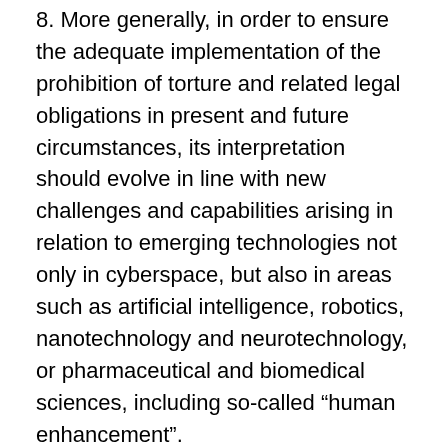8. More generally, in order to ensure the adequate implementation of the prohibition of torture and related legal obligations in present and future circumstances, its interpretation should evolve in line with new challenges and capabilities arising in relation to emerging technologies not only in cyberspace, but also in areas such as artificial intelligence, robotics, nanotechnology and neurotechnology, or pharmaceutical and biomedical sciences, including so-called “human enhancement”.
1. Al Elmondi, “Next-generation nonsurgical neurotechnology”, Defense Advanced Research Projects Agency, available at www.darpa.mil/p…/next-generation-nonsurgical-neurotechnology.
2 See Human Rights Council resolutions 32/13 and 38/7. See, most notably, the 2013 disclosures by Edward Snowden of the global surveillance activities conducted by